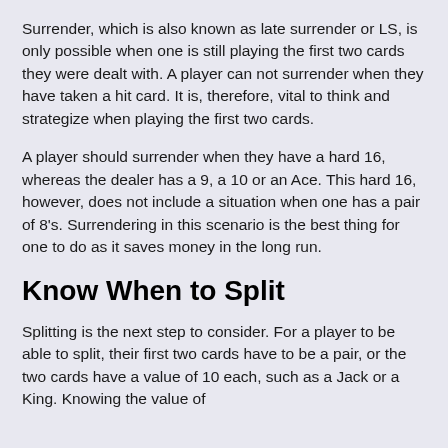Surrender, which is also known as late surrender or LS, is only possible when one is still playing the first two cards they were dealt with. A player can not surrender when they have taken a hit card. It is, therefore, vital to think and strategize when playing the first two cards.
A player should surrender when they have a hard 16, whereas the dealer has a 9, a 10 or an Ace. This hard 16, however, does not include a situation when one has a pair of 8's. Surrendering in this scenario is the best thing for one to do as it saves money in the long run.
Know When to Split
Splitting is the next step to consider. For a player to be able to split, their first two cards have to be a pair, or the two cards have a value of 10 each, such as a Jack or a King. Knowing the value of